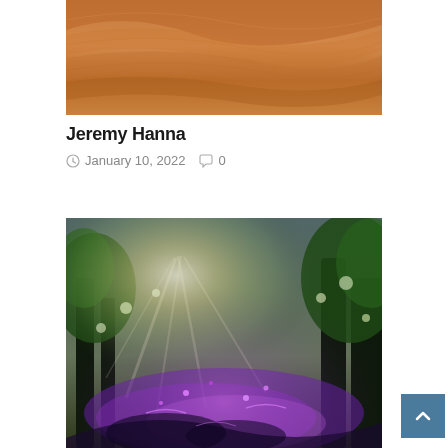[Figure (photo): Desert sand dunes with warm orange/brown tones, close-up view showing smooth undulating sand surface]
Jeremy Hanna
January 10, 2022   0
[Figure (photo): Fantasy/magical forest scene with bright light rays shining through trees, purple glowing water or liquid below, lush green vegetation, mystical atmosphere]